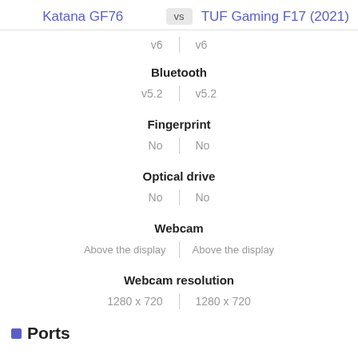Katana GF76 vs TUF Gaming F17 (2021)
v6 | v6
Bluetooth
v5.2 | v5.2
Fingerprint
No | No
Optical drive
No | No
Webcam
Above the display | Above the display
Webcam resolution
1280 x 720 | 1280 x 720
Ports